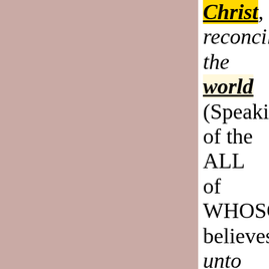Christ, reconciling the world (Speaking of the ALL of WHOSOEVER believes) unto Himself, not imputing